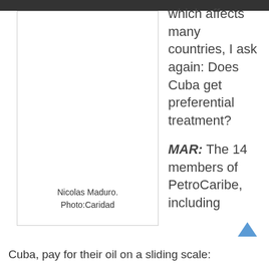[Figure (photo): Photo of Nicolas Maduro, labeled 'Nicolas Maduro. Photo:Caridad']
Nicolas Maduro. Photo:Caridad
which affects many countries, I ask again: Does Cuba get preferential treatment?
MAR: The 14 members of PetroCaribe, including
Cuba, pay for their oil on a sliding scale: